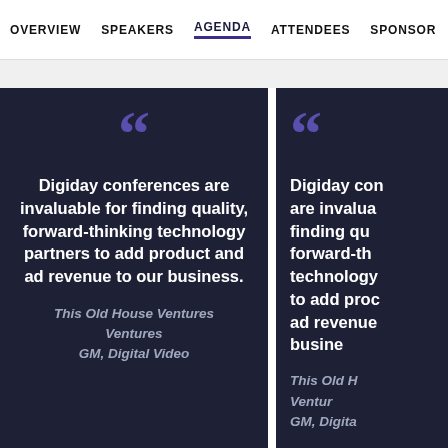OVERVIEW   SPEAKERS   AGENDA   ATTENDEES   SPONSOR
Digiday conferences are invaluable for finding quality, forward-thinking technology partners to add product and ad revenue to our business.

This Old House Ventures
GM, Digital Video
Digiday conferences are invaluable for finding quality, forward-thinking technology partners to add product and ad revenue to our business.

This Old House Ventures
GM, Digital Video